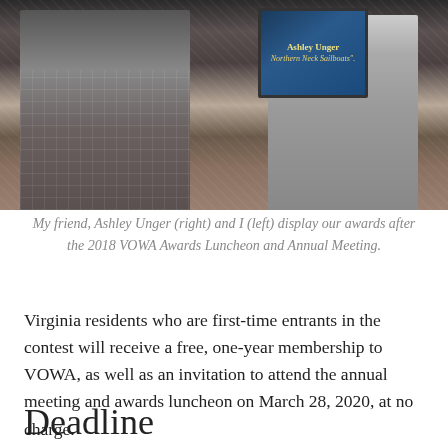[Figure (photo): Two people holding framed award plaques. The person on the right (Ashley Unger) holds a plaque visible with her name and 'Northern Neck Sailboats'. Both are standing outdoors on a paved surface.]
My friend, Ashley Unger (right) and I (left) display our awards after the 2018 VOWA Awards Luncheon and Annual Meeting.
Virginia residents who are first-time entrants in the contest will receive a free, one-year membership to VOWA, as well as an invitation to attend the annual meeting and awards luncheon on March 28, 2020, at no charge.
Deadline